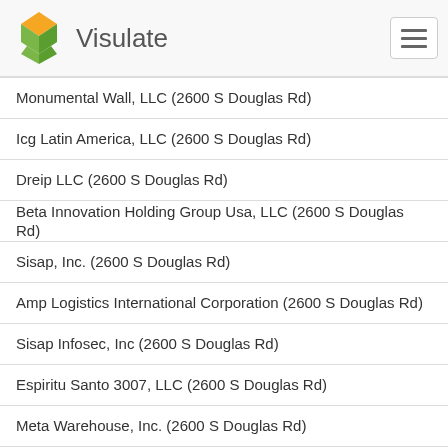Visulate
Monumental Wall, LLC (2600 S Douglas Rd)
Icg Latin America, LLC (2600 S Douglas Rd)
Dreip LLC (2600 S Douglas Rd)
Beta Innovation Holding Group Usa, LLC (2600 S Douglas Rd)
Sisap, Inc. (2600 S Douglas Rd)
Amp Logistics International Corporation (2600 S Douglas Rd)
Sisap Infosec, Inc (2600 S Douglas Rd)
Espiritu Santo 3007, LLC (2600 S Douglas Rd)
Meta Warehouse, Inc. (2600 S Douglas Rd)
Goald LLC (2600 S Douglas Road Ste 913)